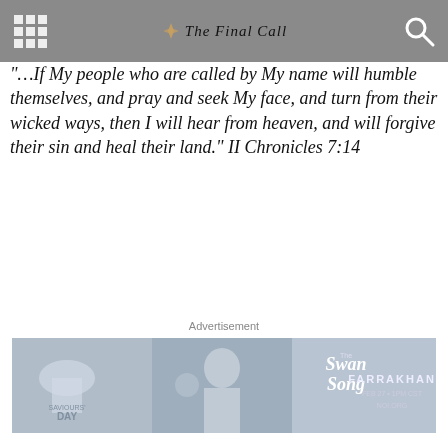The Final Call
"…If My people who are called by My name will humble themselves, and pray and seek My face, and turn from their wicked ways, then I will hear from heaven, and will forgive their sin and heal their land." II Chronicles 7:14
Advertisement
[Figure (photo): Advertisement banner for Farrakhan Swan Song event on Feb 27 at 1PM CST on NOI.ORG, showing a man with glasses and event branding.]